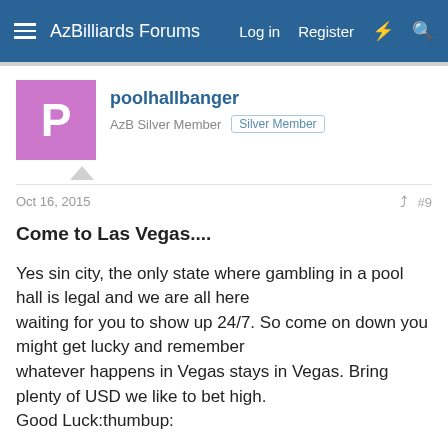AzBilliards Forums  Log in  Register
poolhallbanger
AzB Silver Member  Silver Member
Oct 16, 2015  #9
Come to Las Vegas....

Yes sin city, the only state where gambling in a pool hall is legal and we are all here
waiting for you to show up 24/7. So come on down you might get lucky and remember
whatever happens in Vegas stays in Vegas. Bring plenty of USD we like to bet high.
Good Luck:thumbup:
Teacherman
AzB Silver Member  Silver Member